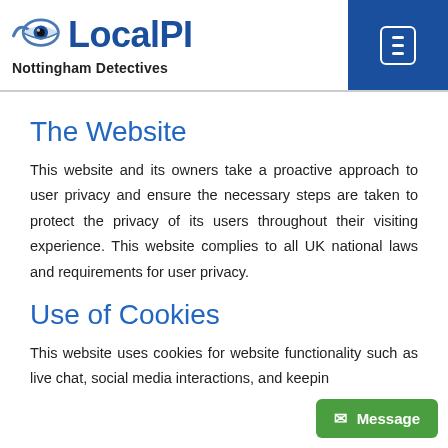LocalPI — Nottingham Detectives
The Website
This website and its owners take a proactive approach to user privacy and ensure the necessary steps are taken to protect the privacy of its users throughout their visiting experience. This website complies to all UK national laws and requirements for user privacy.
Use of Cookies
This website uses cookies for website functionality such as live chat, social media interactions, and keeping